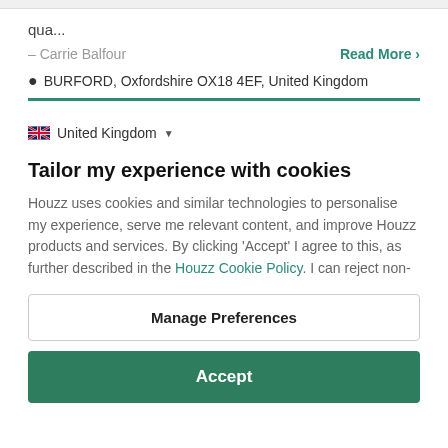qua...
– Carrie Balfour
Read More >
BURFORD, Oxfordshire OX18 4EF, United Kingdom
United Kingdom
Tailor my experience with cookies
Houzz uses cookies and similar technologies to personalise my experience, serve me relevant content, and improve Houzz products and services. By clicking 'Accept' I agree to this, as further described in the Houzz Cookie Policy. I can reject non-
Manage Preferences
Accept